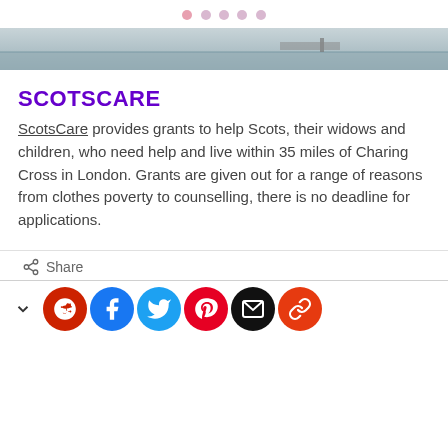[Figure (photo): Partial hero image showing a waterfront or harbor scene, partially cropped at top]
SCOTSCARE
ScotsCare provides grants to help Scots, their widows and children, who need help and live within 35 miles of Charing Cross in London. Grants are given out for a range of reasons from clothes poverty to counselling, there is no deadline for applications.
[Figure (infographic): Share bar with lock/share icon and the word Share, followed by social media buttons: Reddit, Facebook, Twitter, Pinterest, Email, Link]